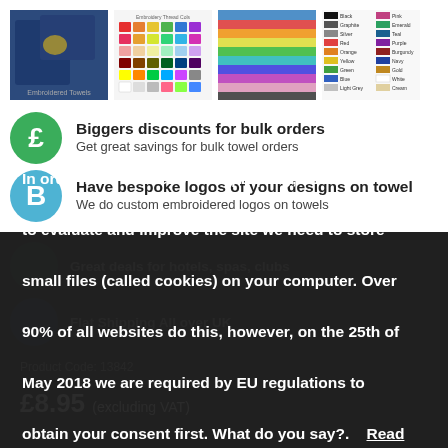[Figure (photo): Four product images: embroidered navy towels, colorful thread spools grid, stacked colorful towels, and an embroidery thread color chart]
Biggers discounts for bulk orders — Get great savings for bulk towel orders
Have bespoke logos of your designs on towel — We do custom embroidered logos on towels
Great deals for hotels, spas, clubs
Flat Shipping All over UK
Product Code: 13842
£8.95 (excluding VAT)
In order for this site to work properly, and in order to evaluate and improve the site we need to store small files (called cookies) on your computer. Over 90% of all websites do this, however, on the 25th of May 2018 we are required by EU regulations to obtain your consent first. What do you say?.   Read More  ✔ Accept